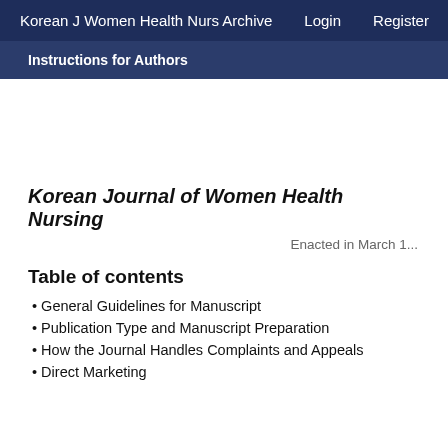Korean J Women Health Nurs Archive   Login   Register   My Manus
Instructions for Authors
Korean Journal of Women Health Nursing
Enacted in March 1...
Table of contents
General Guidelines for Manuscript
Publication Type and Manuscript Preparation
How the Journal Handles Complaints and Appeals
Direct Marketing